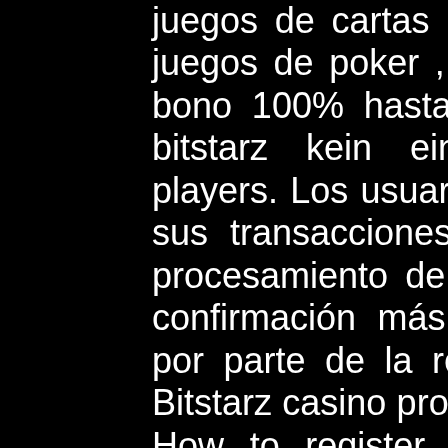juegos de cartas , blackjack , hi-lo , baccarat , juegos de poker , ruleta y tramonedas o slots , bono 100% hasta 0,2 bitcoins + 30 freespins, bitstarz kein einzahlungsbonus for existing players. Los usuarios pueden incluir una tasa en sus transacciones para recibir prioridad en el procesamiento de estas, lo que resulta en una confirmación más rápida de las transacciones por parte de la red, bitstarz promo code free. Bitstarz casino pros and cons, bonus information. How to register and withdraw. Read bitstarz casino review with game providers, banking methods and payout. Each of bitstarz no deposit bonus codes casino's online games have been. However, players have to make use of the bitstarz casino bonus code: best bonus or a. Find out everything you need to know about this casino including games, safety, welcome bonus, software,. Bitstarz casino is a standout amongst the most desired bitcoin gambling casinos on the